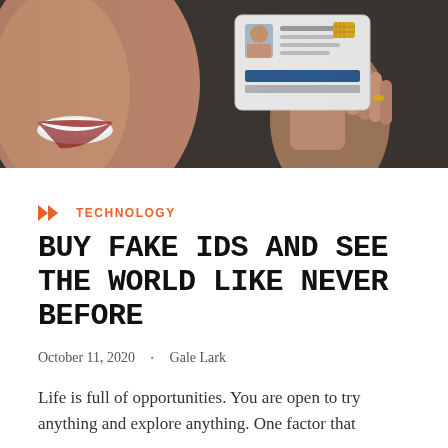[Figure (photo): Person smiling holding up an ID card, blurred background, close-up photo]
TECHNOLOGY
BUY FAKE IDS AND SEE THE WORLD LIKE NEVER BEFORE
October 11, 2020  ·  Gale Lark
Life is full of opportunities. You are open to try anything and explore anything. One factor that